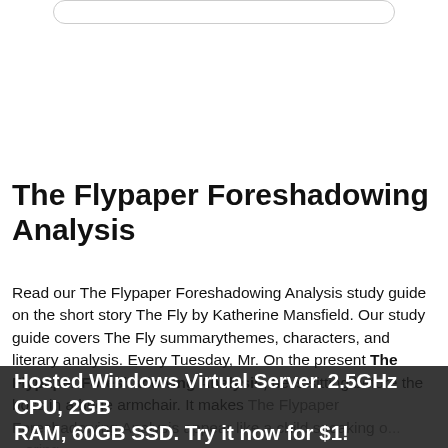The Flypaper Foreshadowing Analysis
Read our The Flypaper Foreshadowing Analysis study guide on the short story The Fly by Katherine Mansfield. Our study guide covers The Fly summarythemes, characters, and literary analysis. Every Tuesday, Mr. On the present The Flypaper Foreshadowing Analysis, he is sitting before the boss in a huge armchair. It makes The Flypaper Foreshadowing Analysis appear like a child sneaking o... ...ering issues. This situation presents him as a vulnerable and The ...Highlighted...
Hosted Windows Virtual Server. 2.5GHz CPU, 2GB RAM, 60GB SSD. Try it now for $1!